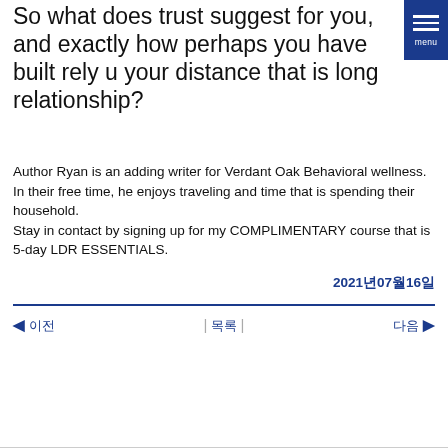So what does trust suggest for you, and exactly how perhaps you have built rely u your distance that is long relationship?
Author Ryan is an adding writer for Verdant Oak Behavioral wellness. In their free time, he enjoys traveling and time that is spending their household.
Stay in contact by signing up for my COMPLIMENTARY course that is 5-day LDR ESSENTIALS.
2021년07월16일
◀ 이전 | 목록 | 다음 ▶